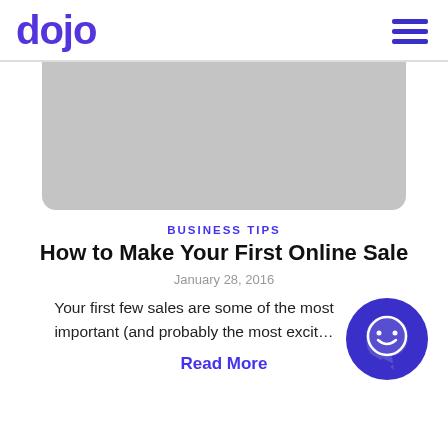dojo
[Figure (illustration): Gray rounded rectangle placeholder image area, partially visible, cropped at top]
BUSINESS TIPS
How to Make Your First Online Sale
January 28, 2016
Your first few sales are some of the most important (and probably the most excit…
Read More
[Figure (illustration): Dark blue/purple chat bubble icon with smiling face, bottom right corner]